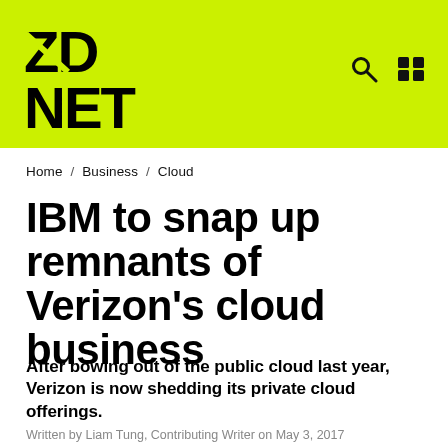ZDNET
Home / Business / Cloud
IBM to snap up remnants of Verizon's cloud business
After bowing out of the public cloud last year, Verizon is now shedding its private cloud offerings.
Written by Liam Tung, Contributing Writer on May 3, 2017